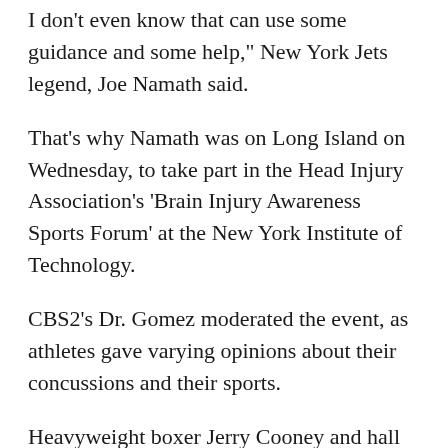I don't even know that can use some guidance and some help," New York Jets legend, Joe Namath said.
That's why Namath was on Long Island on Wednesday, to take part in the Head Injury Association's 'Brain Injury Awareness Sports Forum' at the New York Institute of Technology.
CBS2's Dr. Gomez moderated the event, as athletes gave varying opinions about their concussions and their sports.
Heavyweight boxer Jerry Cooney and hall of fame jockey Ramon Dominguez don't want their children to follow in their footsteps, while New York Jets John Nitti and Marty Lyons said the life lessons gained from team sports outweighed the risks.